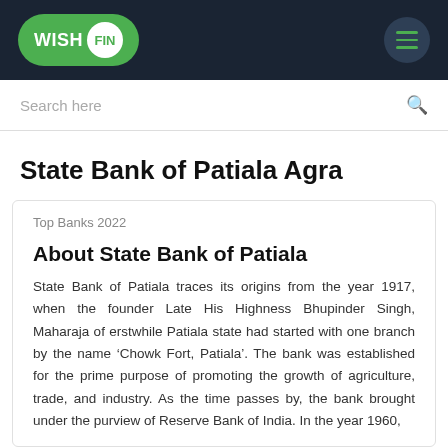WISH FIN
Search here
State Bank of Patiala Agra
Top Banks 2022
About State Bank of Patiala
State Bank of Patiala traces its origins from the year 1917, when the founder Late His Highness Bhupinder Singh, Maharaja of erstwhile Patiala state had started with one branch by the name ‘Chowk Fort, Patiala’. The bank was established for the prime purpose of promoting the growth of agriculture, trade, and industry. As the time passes by, the bank brought under the purview of Reserve Bank of India. In the year 1960,